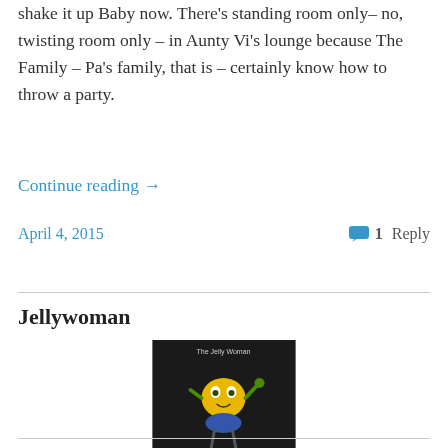shake it up Baby now. There's standing room only– no, twisting room only – in Aunty Vi's lounge because The Family – Pa's family, that is – certainly know how to throw a party.
Continue reading →
April 4, 2015
1 Reply
Jellywoman
[Figure (photo): A small figurine of a yellow jelly-like character with green arms, standing on blue legs, against a dark background. Text at top reads 'The Jelly Woman'.]